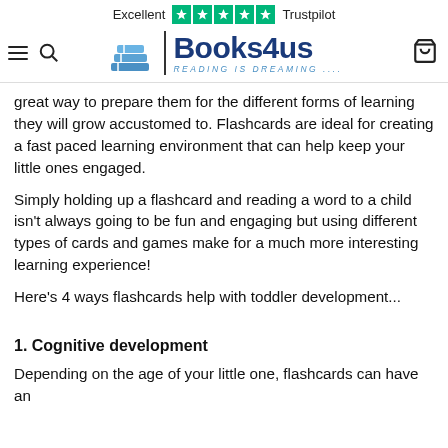Excellent ★★★★★ Trustpilot | Books4us READING IS DREAMING....
great way to prepare them for the different forms of learning they will grow accustomed to. Flashcards are ideal for creating a fast paced learning environment that can help keep your little ones engaged.
Simply holding up a flashcard and reading a word to a child isn't always going to be fun and engaging but using different types of cards and games make for a much more interesting learning experience!
Here's 4 ways flashcards help with toddler development...
1. Cognitive development
Depending on the age of your little one, flashcards can have an